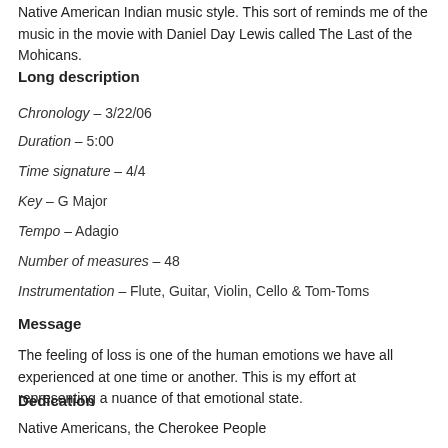Native American Indian music style. This sort of reminds me of the music in the movie with Daniel Day Lewis called The Last of the Mohicans.
Long description
Chronology – 3/22/06
Duration – 5:00
Time signature – 4/4
Key – G Major
Tempo – Adagio
Number of measures – 48
Instrumentation – Flute, Guitar, Violin, Cello & Tom-Toms
Message
The feeling of loss is one of the human emotions we have all experienced at one time or another. This is my effort at representing a nuance of that emotional state.
Dedication
Native Americans, the Cherokee People
Story behind the song